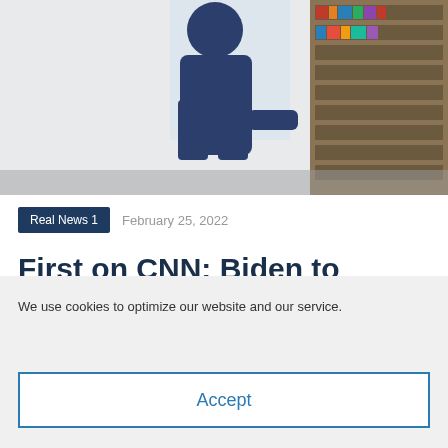[Figure (photo): A person in a dark blue outfit standing in an office/library setting with bookshelves in the background]
Real News 1    February 25, 2022
First on CNN: Biden to nominate Ketanji Brown
We use cookies to optimize our website and our service.
Accept